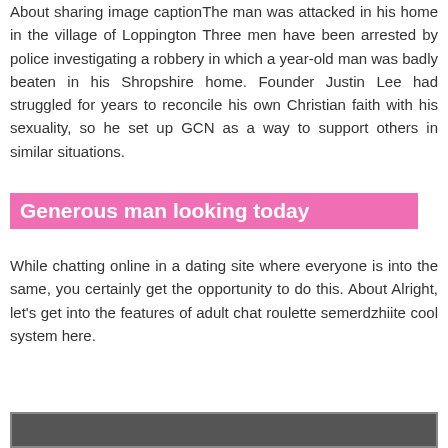About sharing image captionThe man was attacked in his home in the village of Loppington Three men have been arrested by police investigating a robbery in which a year-old man was badly beaten in his Shropshire home. Founder Justin Lee had struggled for years to reconcile his own Christian faith with his sexuality, so he set up GCN as a way to support others in similar situations.
Generous man looking today
While chatting online in a dating site where everyone is into the same, you certainly get the opportunity to do this. About Alright, let's get into the features of adult chat roulette semerdzhiite cool system here.
[Figure (screenshot): Partial screenshot of a dark-themed interface, partially visible at the bottom of the page.]